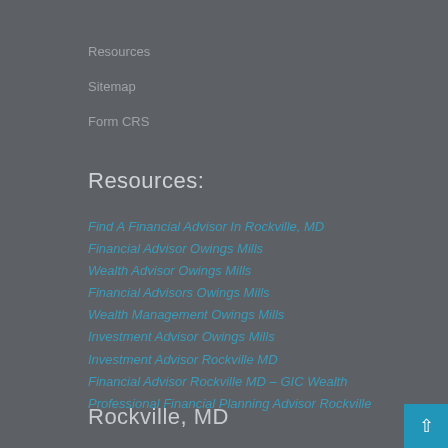Resources
Sitemap
Form CRS
Resources:
Find A Financial Advisor In Rockville, MD
Financial Advisor Owings Mills
Wealth Advisor Owings Mills
Financial Advisors Owings Mills
Wealth Management Owings Mills
Investment Advisor Owings Mills
Investment Advisor Rockville MD
Financial Advisor Rockville MD – GIC Wealth
Professional Financial Planning Advisor Rockville
Rockville, MD